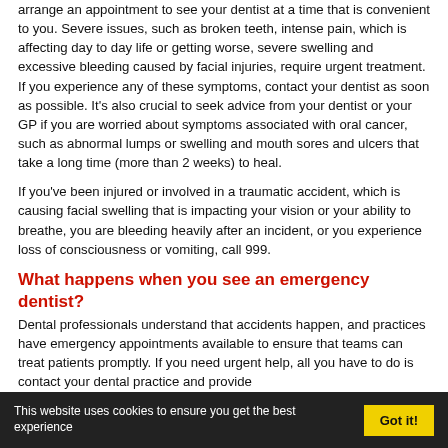arrange an appointment to see your dentist at a time that is convenient to you. Severe issues, such as broken teeth, intense pain, which is affecting day to day life or getting worse, severe swelling and excessive bleeding caused by facial injuries, require urgent treatment. If you experience any of these symptoms, contact your dentist as soon as possible. It's also crucial to seek advice from your dentist or your GP if you are worried about symptoms associated with oral cancer, such as abnormal lumps or swelling and mouth sores and ulcers that take a long time (more than 2 weeks) to heal.
If you've been injured or involved in a traumatic accident, which is causing facial swelling that is impacting your vision or your ability to breathe, you are bleeding heavily after an incident, or you experience loss of consciousness or vomiting, call 999.
What happens when you see an emergency dentist?
Dental professionals understand that accidents happen, and practices have emergency appointments available to ensure that teams can treat patients promptly. If you need urgent help, all you have to do is contact your dental practice and provide
This website uses cookies to ensure you get the best experience